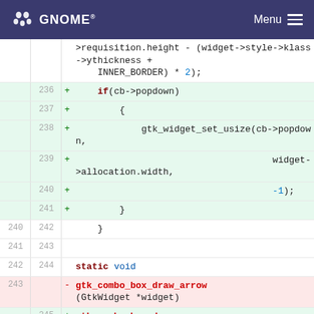GNOME   Menu
[Figure (screenshot): Code diff view showing GTK combo box source code changes. Lines 236-241 are added (green), line 243 is removed (red), line 245 is added (green). The diff shows gtk_combo_box_draw_arrow function signature change to include gboolean detent parameter.]